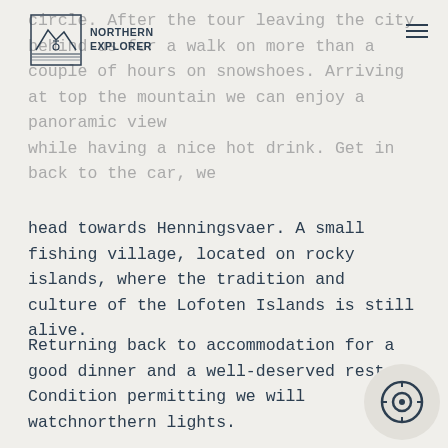NORTHERN EXPLORER
circle. After the tour leaving the city behind us for a walk on more than a couple of hours on snowshoes. Arriving at top the mountain we can enjoy a panoramic view while having a nice hot drink. Get in back to the car, we head towards Henningsvaer. A small fishing village, located on rocky islands, where the tradition and culture of the Lofoten Islands is still alive.
Returning back to accommodation for a good dinner and a well-deserved rest. Condition permitting we will watchnorthern lights.
Day 3:After breakfastwe are starting the second day on the island Vestvagøy, heart of the Lofoten. Eggum, a small town on the north coast of the island, where we will paddle in kayak, in crystal clear waters, through channels between small islands and to be able to appreciate the unique beauty of these islands from the